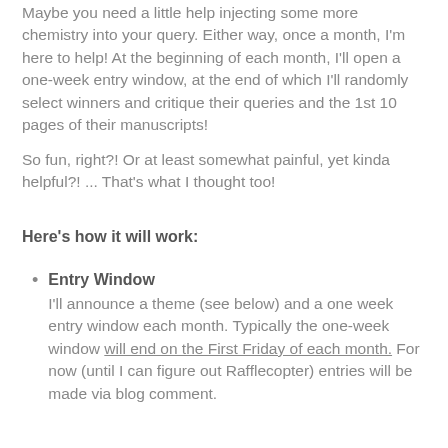Maybe you need a little help injecting some more chemistry into your query. Either way, once a month, I'm here to help! At the beginning of each month, I'll open a one-week entry window, at the end of which I'll randomly select winners and critique their queries and the 1st 10 pages of their manuscripts!
So fun, right?! Or at least somewhat painful, yet kinda helpful?! ... That's what I thought too!
Here's how it will work:
Entry Window — I'll announce a theme (see below) and a one week entry window each month. Typically the one-week window will end on the First Friday of each month. For now (until I can figure out Rafflecopter) entries will be made via blog comment.